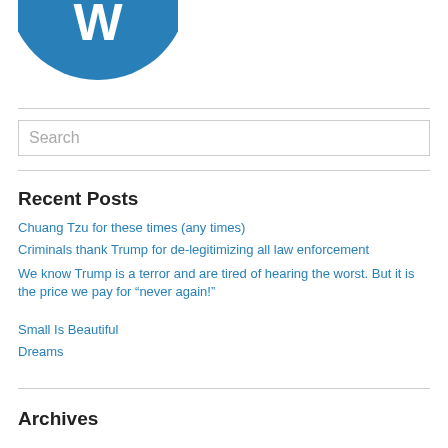[Figure (logo): WordPress Freshly Pressed circular badge logo in blue and white]
Search
Recent Posts
Chuang Tzu for these times (any times)
Criminals thank Trump for de-legitimizing all law enforcement
We know Trump is a terror and are tired of hearing the worst. But it is the price we pay for “never again!”
Small Is Beautiful
Dreams
Archives